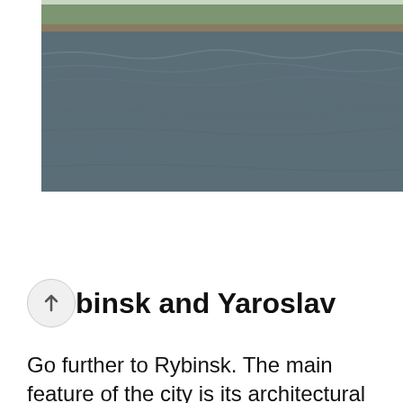[Figure (photo): Wide photograph of a river or reservoir with rippling water in foreground and a tree-lined shore with buildings visible in the background]
[Figure (photo): Partial photograph on the right side showing green foliage]
Rybinsk and Yaroslav
Go further to Rybinsk. The main feature of the city is its architectural